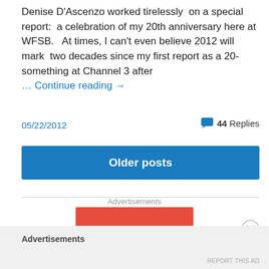Denise D'Ascenzo worked tirelessly on a special report: a celebration of my 20th anniversary here at WFSB. At times, I can't even believe 2012 will mark two decades since my first report as a 20-something at Channel 3 after … Continue reading →
05/22/2012
44 Replies
Older posts
Advertisements
[Figure (logo): Pocket Casts advertisement banner — red background with Pocket Casts logo and text]
Advertisements
REPORT THIS AD